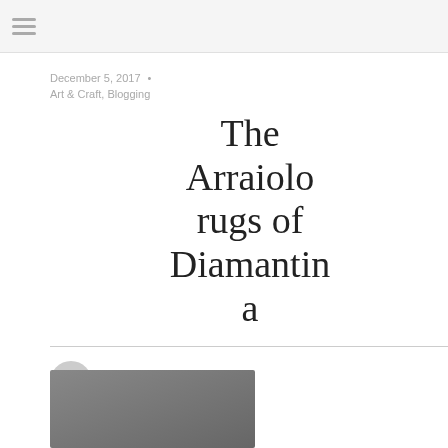December 5, 2017 • Art & Craft, Blogging
The Arraiolo rugs of Diamantina
Posted by Paula Davis
[Figure (photo): Photo at bottom left, partially visible]
[Figure (logo): Gift Brazil circular logo with text 'gift brazil' and subtitle 'A collection of amazing Brazilian craft']
WELCOME
[Figure (photo): Welcome section photo showing colorful figure outdoors]
We are passionate about making
Clique aqui para saber como